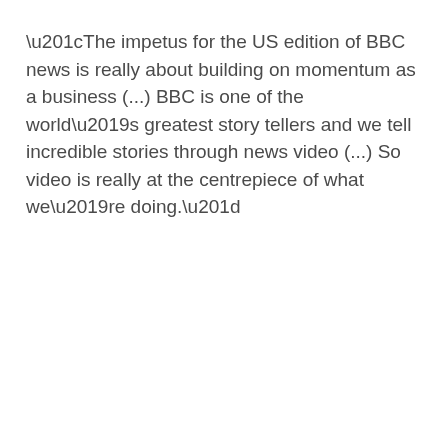“The impetus for the US edition of BBC news is really about building on momentum as a business (...) BBC is one of the world’s greatest story tellers and we tell incredible stories through news video (...) So video is really at the centrepiece of what we’re doing.”